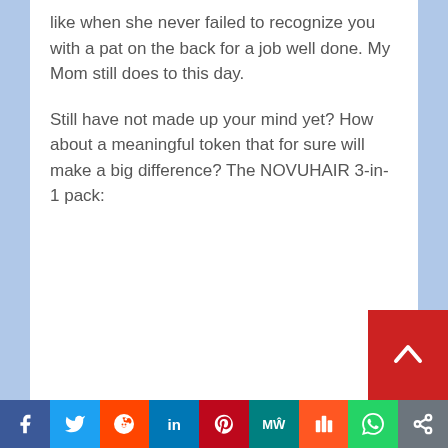like when she never failed to recognize you with a pat on the back for a job well done. My Mom still does to this day.
Still have not made up your mind yet? How about a meaningful token that for sure will make a big difference? The NOVUHAIR 3-in-1 pack:
[Figure (other): Red scroll-to-top button with white upward chevron arrow]
[Figure (other): Social media sharing bar with icons: Facebook, Twitter, Reddit, LinkedIn, Pinterest, MeWe, Mix, WhatsApp, Share]